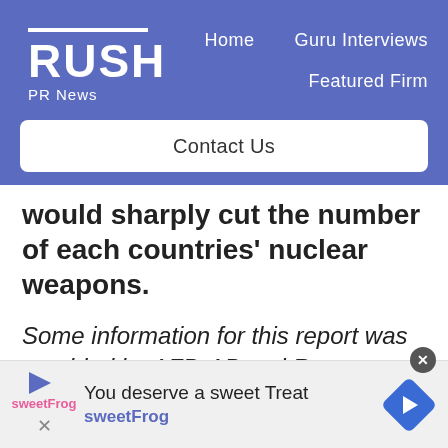RUSH PR News — Home | Guru Interviews | Featured Firm | Contact Us
would sharply cut the number of each countries' nuclear weapons.
Some information for this report was provided by AFP, AP and Reuters.
Photo credit: The interior of the Main Conference hall, where the Summit meetings are to be carried out in the
You deserve a sweet Treat
sweetFrog